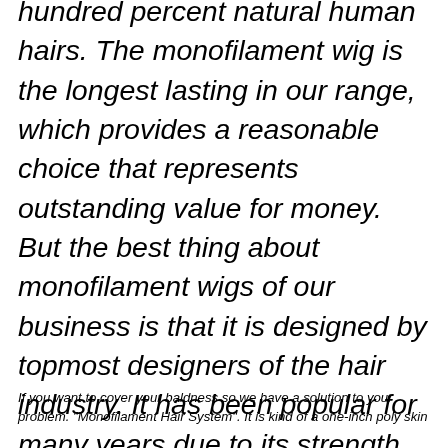hundred percent natural human hairs. The monofilament wig is the longest lasting in our range, which provides a reasonable choice that represents outstanding value for money.  But the best thing about monofilament wigs of our business is that it is designed by topmost designers of the hair industry. It has been popular for many years due to its strength and stability. Thus it will not only cover your hair loss area but will give you a whole new look.
If you want to cover your baldness so we have a solution to your problem. "Monofilament Hair System". It is kind of a one-inch poly skin